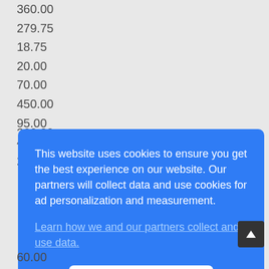360.00
279.75
18.75
20.00
70.00
450.00
95.00
40.00
250.00
This website uses cookies to ensure you get the best experience on our website. Our partners will collect data and use cookies for ad personalization and measurement. Learn how we and our partners collect and use data.
60.00